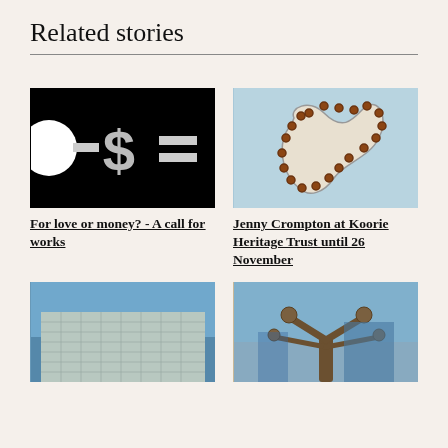Related stories
[Figure (photo): Black background with white dollar sign, minus sign, and equals sign symbols]
For love or money? - A call for works
[Figure (photo): Close-up of a decorative beaded or embroidered artwork resembling an animal or creature on a light blue background]
Jenny Crompton at Koorie Heritage Trust until 26 November
[Figure (photo): Exterior of a modern building with glass and metal facade against a blue sky]
[Figure (photo): Metal sculpture with organic branch-like forms against a blue sky with buildings in background]